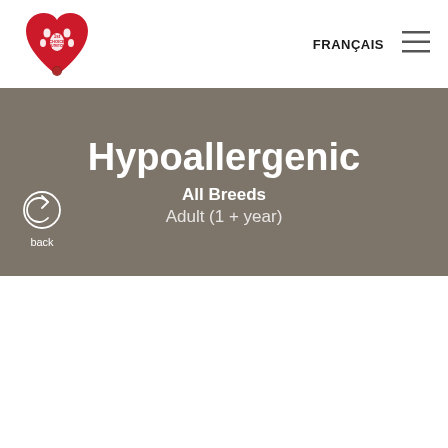[Figure (logo): 1st Choice Nutrition logo: red heart shape with white paw print, text '1st CHOICE NUTRITION' and a small circular badge at bottom]
FRANÇAIS
[Figure (other): Hamburger menu icon with three horizontal lines]
[Figure (other): Back button: circular arrow icon with text 'back']
Hypoallergenic
All Breeds
Adult (1 + year)